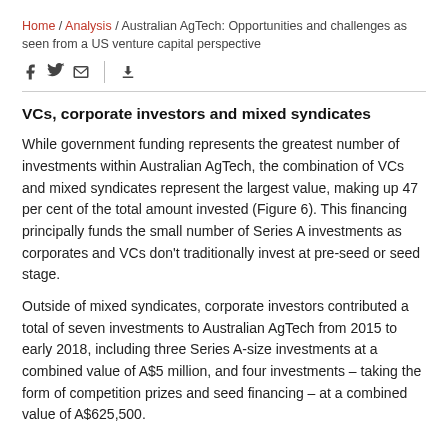Home / Analysis / Australian AgTech: Opportunities and challenges as seen from a US venture capital perspective
VCs, corporate investors and mixed syndicates
While government funding represents the greatest number of investments within Australian AgTech, the combination of VCs and mixed syndicates represent the largest value, making up 47 per cent of the total amount invested (Figure 6). This financing principally funds the small number of Series A investments as corporates and VCs don't traditionally invest at pre-seed or seed stage.
Outside of mixed syndicates, corporate investors contributed a total of seven investments to Australian AgTech from 2015 to early 2018, including three Series A-size investments at a combined value of A$5 million, and four investments – taking the form of competition prizes and seed financing – at a combined value of A$625,500.